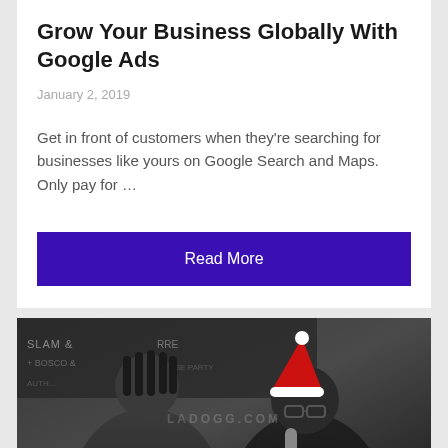Grow Your Business Globally With Google Ads
January 2, 2019
Get in front of customers when they're searching for businesses like yours on Google Search and Maps. Only pay for …
Read More
[Figure (photo): Two men posing together at an event; one wearing a Santa hat and holding a microphone, the other in a black jacket. Background shows event signage partially readable as 'SLAM & ...RRE + BOSCO &... HOUSE PARTY'. A watermark reads 'LADOGG.COM'.]